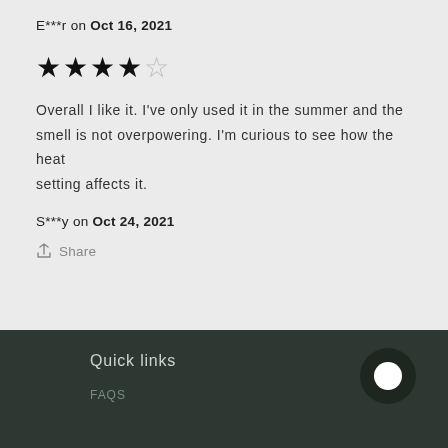E***r on Oct 16, 2021
[Figure (other): 4 out of 5 stars rating]
Overall I like it. I've only used it in the summer and the smell is not overpowering. I'm curious to see how the heat setting affects it.
S***y on Oct 24, 2021
Share
Quick links
FAQS